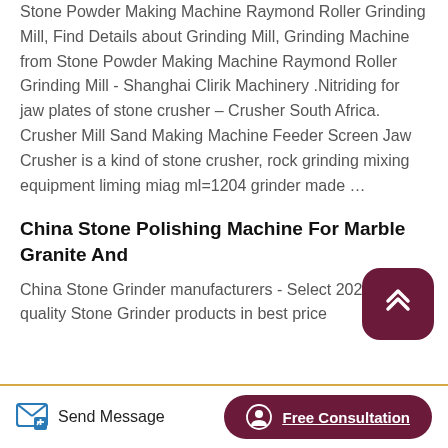Stone Powder Making Machine Raymond Roller Grinding Mill, Find Details about Grinding Mill, Grinding Machine from Stone Powder Making Machine Raymond Roller Grinding Mill - Shanghai Clirik Machinery .Nitriding for jaw plates of stone crusher – Crusher South Africa. Crusher Mill Sand Making Machine Feeder Screen Jaw Crusher is a kind of stone crusher, rock grinding mixing equipment liming miag ml=1204 grinder made …
China Stone Polishing Machine For Marble Granite And
China Stone Grinder manufacturers - Select 2021 high quality Stone Grinder products in best price
Send Message   Free Consultation